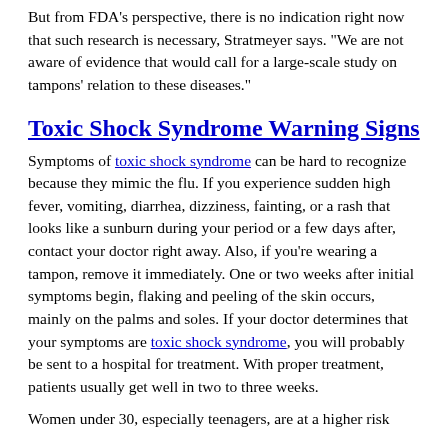But from FDA's perspective, there is no indication right now that such research is necessary, Stratmeyer says. "We are not aware of evidence that would call for a large-scale study on tampons' relation to these diseases."
Toxic Shock Syndrome Warning Signs
Symptoms of toxic shock syndrome can be hard to recognize because they mimic the flu. If you experience sudden high fever, vomiting, diarrhea, dizziness, fainting, or a rash that looks like a sunburn during your period or a few days after, contact your doctor right away. Also, if you're wearing a tampon, remove it immediately. One or two weeks after initial symptoms begin, flaking and peeling of the skin occurs, mainly on the palms and soles. If your doctor determines that your symptoms are toxic shock syndrome, you will probably be sent to a hospital for treatment. With proper treatment, patients usually get well in two to three weeks.
Women under 30, especially teenagers, are at a higher risk